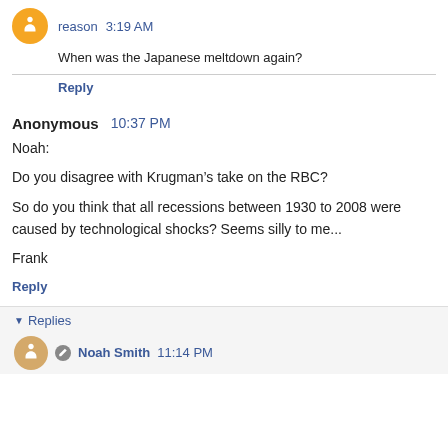reason 3:19 AM
When was the Japanese meltdown again?
Reply
Anonymous 10:37 PM
Noah:

Do you disagree with Krugman's take on the RBC?

So do you think that all recessions between 1930 to 2008 were caused by technological shocks? Seems silly to me...

Frank
Reply
Replies
Noah Smith 11:14 PM